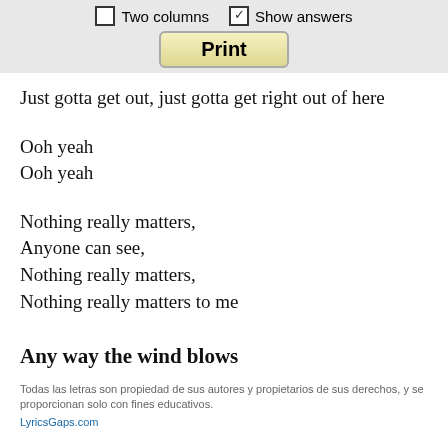Two columns  Show answers  Print
Just gotta get out, just gotta get right out of here
Ooh yeah
Ooh yeah
Nothing really matters,
Anyone can see,
Nothing really matters,
Nothing really matters to me
Any way the wind blows
Todas las letras son propiedad de sus autores y propietarios de sus derechos, y se proporcionan solo con fines educativos.
LyricsGaps.com